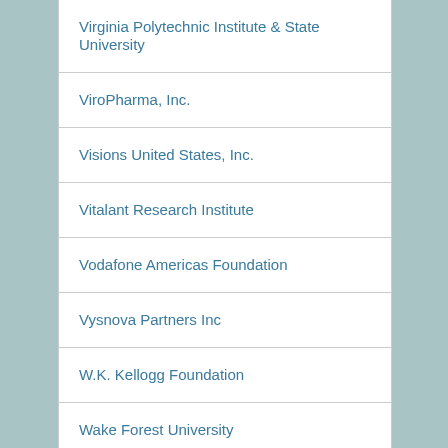Virginia Polytechnic Institute & State University
ViroPharma, Inc.
Visions United States, Inc.
Vitalant Research Institute
Vodafone Americas Foundation
Vysnova Partners Inc
W.K. Kellogg Foundation
Wake Forest University
Wallace Global Fund